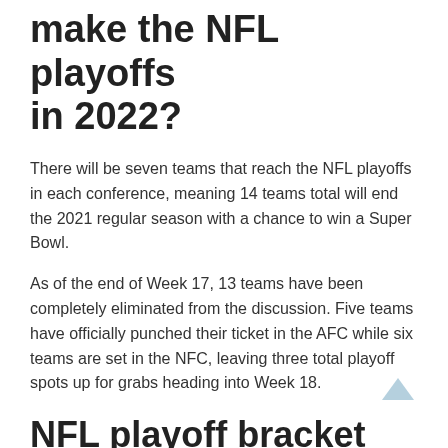make the NFL playoffs in 2022?
There will be seven teams that reach the NFL playoffs in each conference, meaning 14 teams total will end the 2021 regular season with a chance to win a Super Bowl.
As of the end of Week 17, 13 teams have been completely eliminated from the discussion. Five teams have officially punched their ticket in the AFC while six teams are set in the NFC, leaving three total playoff spots up for grabs heading into Week 18.
NFL playoff bracket 2022
Here’s a look at the latest NFL playoffs matchups for